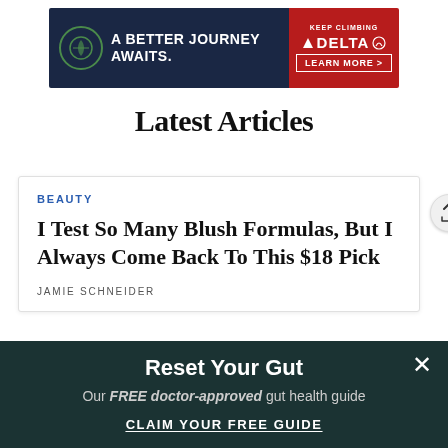[Figure (photo): Delta Airlines advertisement banner: 'A Better Journey Awaits.' with Delta logo and 'Learn More >' button on red background]
Latest Articles
BEAUTY
I Test So Many Blush Formulas, But I Always Come Back To This $18 Pick
JAMIE SCHNEIDER
[Figure (photo): Article thumbnail image with purple/blue background showing article title text: 'I Test So Many Blush Formulas, But I Always Come Back To This $18 Pick']
Reset Your Gut
Our FREE doctor-approved gut health guide
CLAIM YOUR FREE GUIDE